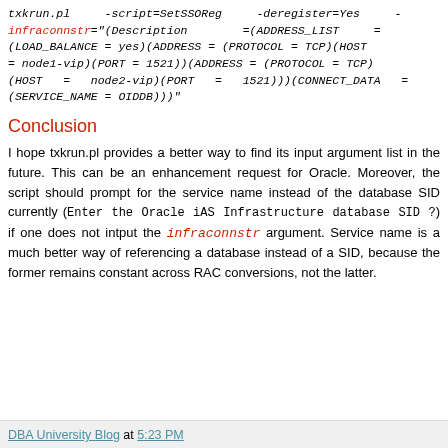txkrun.pl -script=SetSSOReg -deregister=Yes -infraconnstr="(Description =(ADDRESS_LIST =(LOAD_BALANCE = yes)(ADDRESS = (PROTOCOL = TCP)(HOST = node1-vip)(PORT = 1521))(ADDRESS = (PROTOCOL = TCP)(HOST = node2-vip)(PORT = 1521)))(CONNECT_DATA =(SERVICE_NAME = OIDDB)))"
Conclusion
I hope txkrun.pl provides a better way to find its input argument list in the future. This can be an enhancement request for Oracle. Moreover, the script should prompt for the service name instead of the database SID currently (Enter the Oracle iAS Infrastructure database SID ?) if one does not intput the infraconnstr argument. Service name is a much better way of referencing a database instead of a SID, because the former remains constant across RAC conversions, not the latter.
DBA University Blog at 5:23 PM